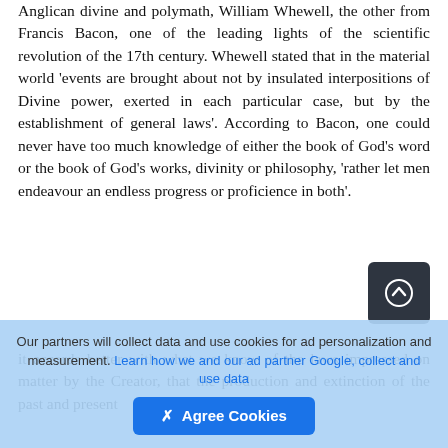Anglican divine and polymath, William Whewell, the other from Francis Bacon, one of the leading lights of the scientific revolution of the 17th century. Whewell stated that in the material world 'events are brought about not by insulated interpositions of Divine power, exerted in each particular case, but by the establishment of general laws'. According to Bacon, one could never have too much knowledge of either the book of God's word or the book of God's works, divinity or philosophy, 'rather let men endeavour an endless progress or proficience in both'.
it accords better with what we know of the laws impressed on matter by the Creator, that the production and extinction of the past and present
Our partners will collect data and use cookies for ad personalization and measurement. Learn how we and our ad partner Google, collect and use data